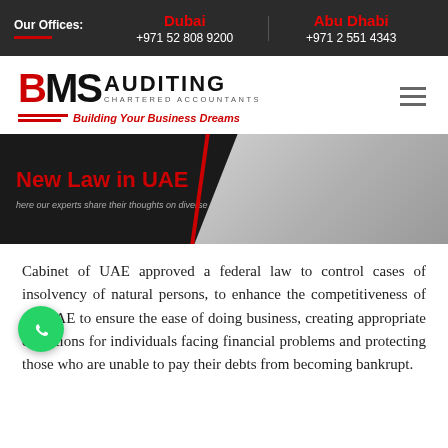Our Offices: | Dubai +971 52 808 9200 | Abu Dhabi +971 2 551 4343
[Figure (logo): BMS Auditing Chartered Accountants logo with tagline 'Building Your Business Dreams']
[Figure (photo): Hero banner with dark overlay showing 'New Law in UAE' title and subtitle 'here our experts share their thoughts on diverse topics', with background photo of hands typing on keyboard]
Cabinet of UAE approved a federal law to control cases of insolvency of natural persons, to enhance the competitiveness of the UAE to ensure the ease of doing business, creating appropriate conditions for individuals facing financial problems and protecting those who are unable to pay their debts from becoming bankrupt.